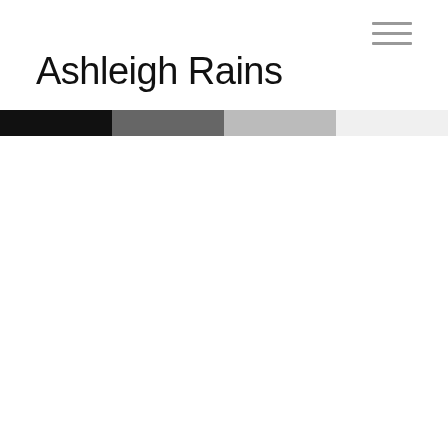Ashleigh Rains
[Figure (other): Horizontal color bar with four segments: black, dark gray, light gray, very light gray/white]